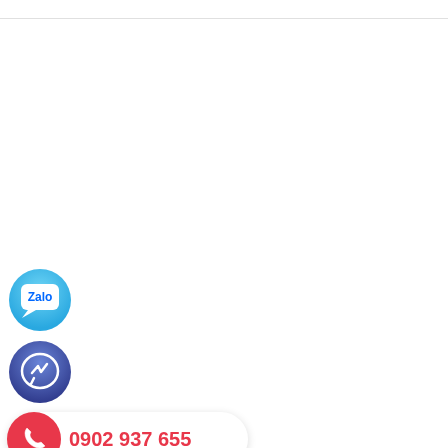[Figure (logo): Zalo app icon - light blue circle with white speech bubble containing 'Zalo' text]
[Figure (logo): Facebook Messenger app icon - dark blue circle with white lightning bolt / messenger logo]
[Figure (infographic): Red circular phone button with white phone handset icon on left side of white pill-shaped button containing red phone number 0902 937 655]